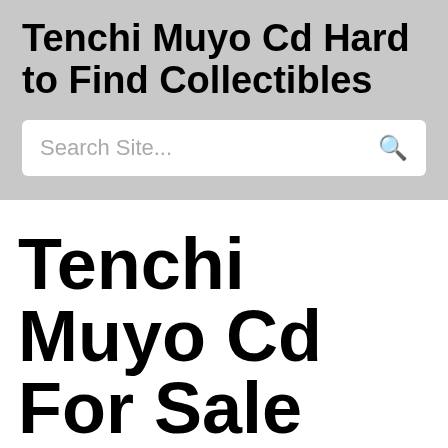Tenchi Muyo Cd Hard to Find Collectibles
[Figure (other): Search bar with placeholder text 'Search Site...' and a search icon on the right]
Tenchi Muyo Cd For Sale